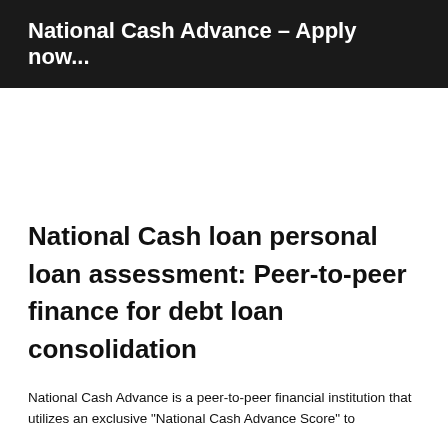National Cash Advance – Apply now...
National Cash loan personal loan assessment: Peer-to-peer finance for debt loan consolidation
National Cash Advance is a peer-to-peer financial institution that utilizes an exclusive "National Cash Advance Score" to